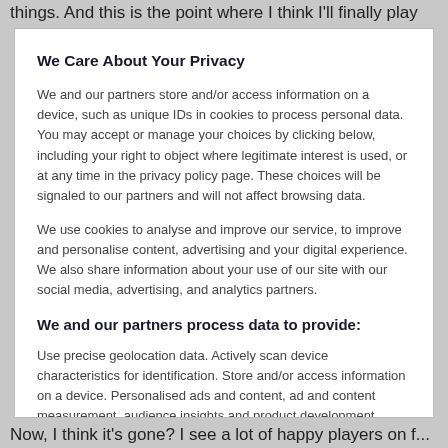things. And this is the point where I think I'll finally play
We Care About Your Privacy
We and our partners store and/or access information on a device, such as unique IDs in cookies to process personal data. You may accept or manage your choices by clicking below, including your right to object where legitimate interest is used, or at any time in the privacy policy page. These choices will be signaled to our partners and will not affect browsing data.
We use cookies to analyse and improve our service, to improve and personalise content, advertising and your digital experience. We also share information about your use of our site with our social media, advertising, and analytics partners.
We and our partners process data to provide:
Use precise geolocation data. Actively scan device characteristics for identification. Store and/or access information on a device. Personalised ads and content, ad and content measurement, audience insights and product development.
List of Partners (vendors)
Now, I think it's gone? I see a lot of happy players on f...